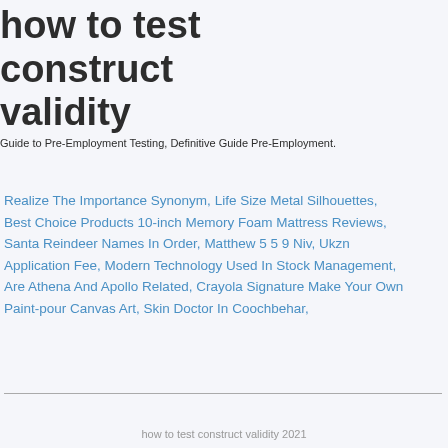how to test construct validity
Guide to Pre-Employment Testing, Definitive Guide Pre-Employment.
Realize The Importance Synonym, Life Size Metal Silhouettes, Best Choice Products 10-inch Memory Foam Mattress Reviews, Santa Reindeer Names In Order, Matthew 5 5 9 Niv, Ukzn Application Fee, Modern Technology Used In Stock Management, Are Athena And Apollo Related, Crayola Signature Make Your Own Paint-pour Canvas Art, Skin Doctor In Coochbehar,
how to test construct validity 2021